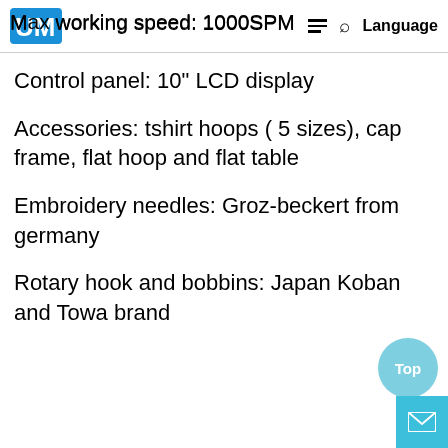Max working speed: 1000SPM
Control panel: 10" LCD display
Accessories: tshirt hoops ( 5 sizes), cap frame, flat hoop and flat table
Embroidery needles: Groz-beckert from germany
Rotary hook and bobbins: Japan Koban and Towa brand